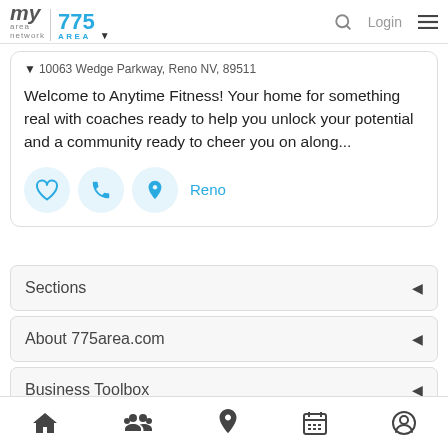my area network | 775 AREA
10063 Wedge Parkway, Reno NV, 89511
Welcome to Anytime Fitness! Your home for something real with coaches ready to help you unlock your potential and a community ready to cheer you on along...
Reno
Sections
About 775area.com
Business Toolbox
Home | Community | Location | Calendar | Profile